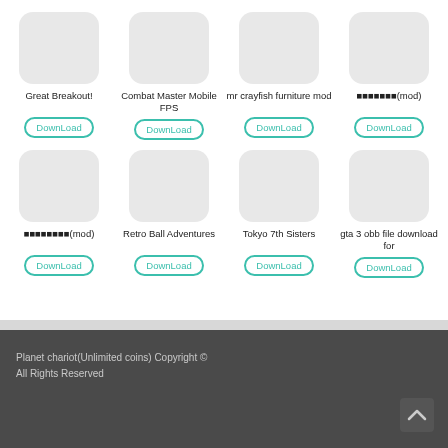[Figure (screenshot): App icon placeholder (grey rounded rectangle) for Great Breakout!]
Great Breakout!
DownLoad
[Figure (screenshot): App icon placeholder for Combat Master Mobile FPS]
Combat Master Mobile FPS
DownLoad
[Figure (screenshot): App icon placeholder for mr crayfish furniture mod]
mr crayfish furniture mod
DownLoad
[Figure (screenshot): App icon placeholder for ■■■■■■■(mod)]
■■■■■■■(mod)
DownLoad
[Figure (screenshot): App icon placeholder for ■■■■■■■■(mod)]
■■■■■■■■(mod)
DownLoad
[Figure (screenshot): App icon placeholder for Retro Ball Adventures]
Retro Ball Adventures
DownLoad
[Figure (screenshot): App icon placeholder for Tokyo 7th Sisters]
Tokyo 7th Sisters
DownLoad
[Figure (screenshot): App icon placeholder for gta 3 obb file download for]
gta 3 obb file download for
DownLoad
Planet chariot(Unlimited coins) Copyright © All Rights Reserved